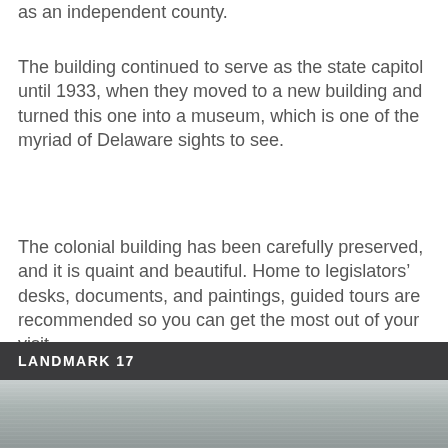as an independent county.
The building continued to serve as the state capitol until 1933, when they moved to a new building and turned this one into a museum, which is one of the myriad of Delaware sights to see.
The colonial building has been carefully preserved, and it is quaint and beautiful. Home to legislators' desks, documents, and paintings, guided tours are recommended so you can get the most out of your visit.
LANDMARK 17
[Figure (photo): Partial landscape/building photo strip at bottom of page]